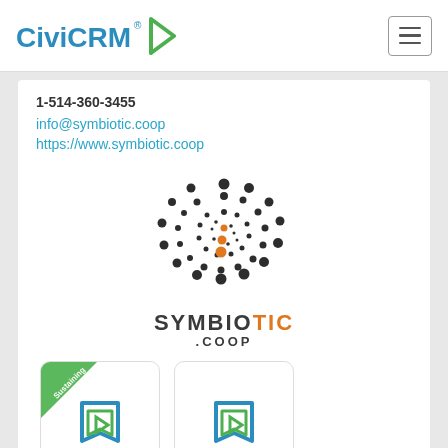[Figure (logo): CiviCRM logo with teal text and green play-button triangle icon, navigation bar with hamburger menu button]
1-514-360-3455
info@symbiotic.coop
https://www.symbiotic.coop
[Figure (logo): Symbiotic.coop logo: spiral dot pattern in dark grey and orange, with wordmark SYMBIOTIC.COOP where TIC is in orange]
[Figure (logo): Two CiviCRM badge cards side by side; left badge has a green Sustaining ribbon corner banner]